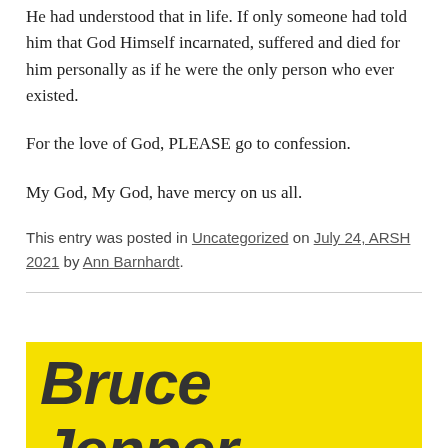He had understood that in life. If only someone had told him that God Himself incarnated, suffered and died for him personally as if he were the only person who ever existed.
For the love of God, PLEASE go to confession.
My God, My God, have mercy on us all.
This entry was posted in Uncategorized on July 24, ARSH 2021 by Ann Barnhardt.
[Figure (other): Yellow background image with bold italic text reading 'Bruce Jenner is a man. And']